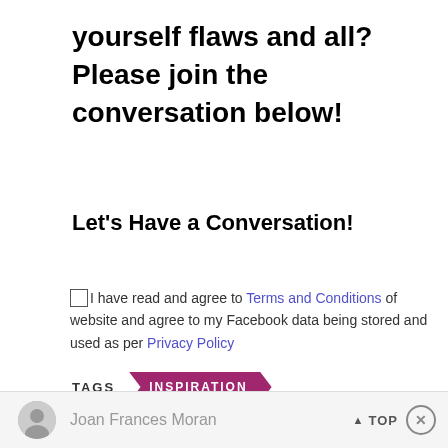yourself flaws and all? Please join the conversation below!
Let's Have a Conversation!
I have read and agree to Terms and Conditions of website and agree to my Facebook data being stored and used as per Privacy Policy
TAGS   INSPIRATION
THE AUTHOR
Joan Frances Moran   ▲ TOP ✕